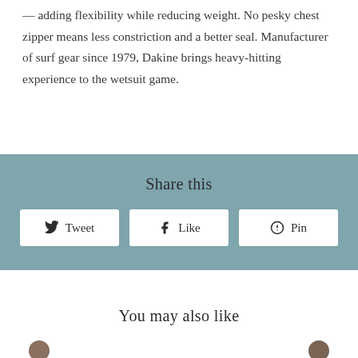— adding flexibility while reducing weight. No pesky chest zipper means less constriction and a better seal. Manufacturer of surf gear since 1979, Dakine brings heavy-hitting experience to the wetsuit game.
Share this
[Figure (other): Three share buttons on a teal background: Tweet, Like, Pin]
You may also like